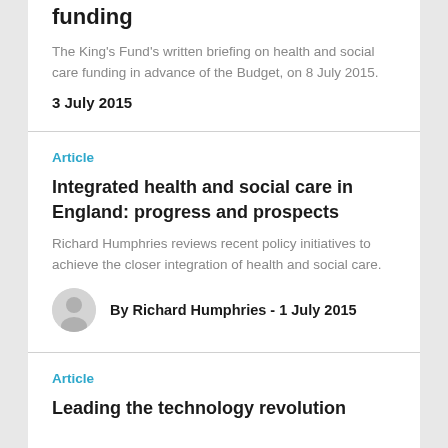funding
The King's Fund's written briefing on health and social care funding in advance of the Budget, on 8 July 2015.
3 July 2015
Article
Integrated health and social care in England: progress and prospects
Richard Humphries reviews recent policy initiatives to achieve the closer integration of health and social care.
By Richard Humphries - 1 July 2015
Article
Leading the technology revolution